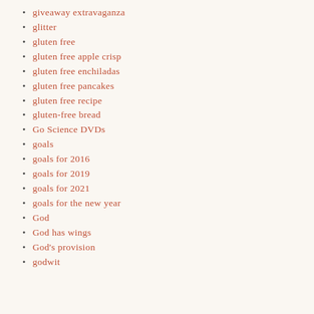giveaway extravaganza
glitter
gluten free
gluten free apple crisp
gluten free enchiladas
gluten free pancakes
gluten free recipe
gluten-free bread
Go Science DVDs
goals
goals for 2016
goals for 2019
goals for 2021
goals for the new year
God
God has wings
God's provision
godwit